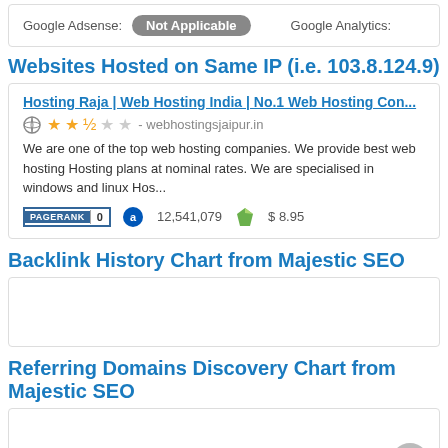Google Adsense: Not Applicable   Google Analytics:
Websites Hosted on Same IP (i.e. 103.8.124.9)
Hosting Raja | Web Hosting India | No.1 Web Hosting Company - webhostingsjaipur.in
We are one of the top web hosting companies. We provide best web hosting Hosting plans at nominal rates. We are specialised in windows and linux Hos...
PAGERANK 0   12,541,079   $ 8.95
Backlink History Chart from Majestic SEO
[Figure (other): Empty chart area for Backlink History Chart from Majestic SEO]
Referring Domains Discovery Chart from Majestic SEO
[Figure (other): Empty chart area for Referring Domains Discovery Chart from Majestic SEO]
HTTP Header Analysis